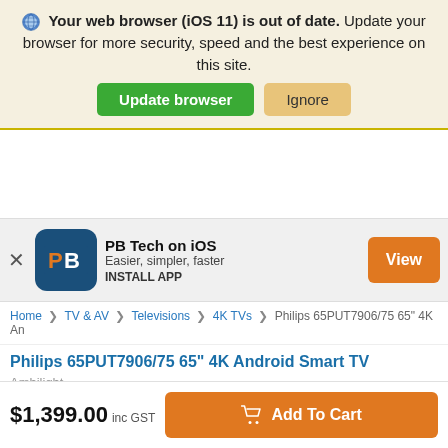Your web browser (iOS 11) is out of date. Update your browser for more security, speed and the best experience on this site.
Update browser | Ignore
[Figure (screenshot): PB Tech iOS app banner with PB logo, text 'PB Tech on iOS', 'Easier, simpler, faster', 'INSTALL APP', and a View button]
Home > TV & AV > Televisions > 4K TVs > Philips 65PUT7906/75 65" 4K An
Philips 65PUT7906/75 65" 4K Android Smart TV
Ambilight
$1,399.00 inc GST
Add To Cart